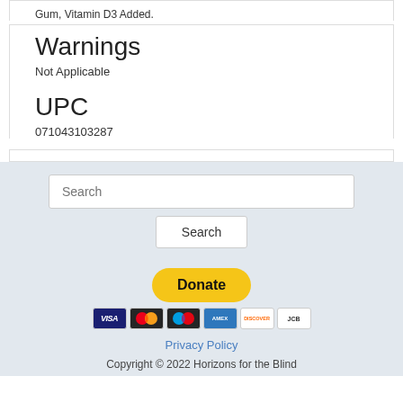Gum, Vitamin D3 Added.
Warnings
Not Applicable
UPC
071043103287
Search
Search
Donate
Privacy Policy
Copyright © 2022 Horizons for the Blind